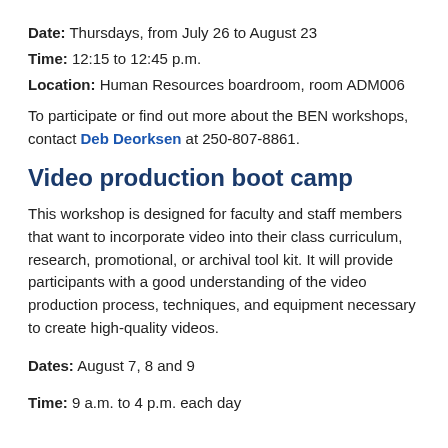Date: Thursdays, from July 26 to August 23
Time: 12:15 to 12:45 p.m.
Location: Human Resources boardroom, room ADM006
To participate or find out more about the BEN workshops, contact Deb Deorksen at 250-807-8861.
Video production boot camp
This workshop is designed for faculty and staff members that want to incorporate video into their class curriculum, research, promotional, or archival tool kit. It will provide participants with a good understanding of the video production process, techniques, and equipment necessary to create high-quality videos.
Dates: August 7, 8 and 9
Time: 9 a.m. to 4 p.m. each day